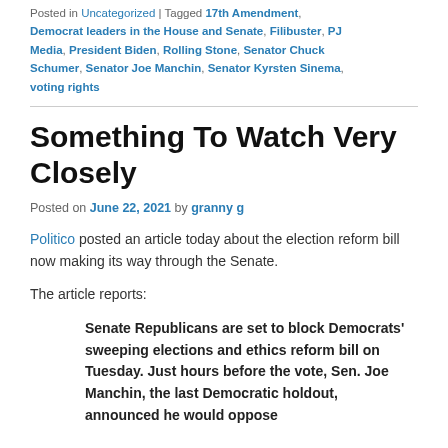Posted in Uncategorized | Tagged 17th Amendment, Democrat leaders in the House and Senate, Filibuster, PJ Media, President Biden, Rolling Stone, Senator Chuck Schumer, Senator Joe Manchin, Senator Kyrsten Sinema, voting rights
Something To Watch Very Closely
Posted on June 22, 2021 by granny g
Politico posted an article today about the election reform bill now making its way through the Senate.
The article reports:
Senate Republicans are set to block Democrats' sweeping elections and ethics reform bill on Tuesday. Just hours before the vote, Sen. Joe Manchin, the last Democratic holdout, announced he would oppose...